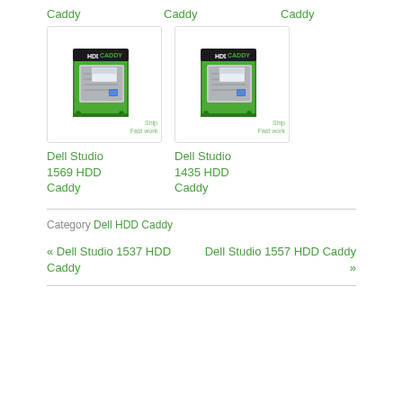Caddy
Caddy
Caddy
[Figure (photo): HDD Caddy product image - green laptop hard drive caddy]
Dell Studio 1569 HDD Caddy
[Figure (photo): HDD Caddy product image - green laptop hard drive caddy]
Dell Studio 1435 HDD Caddy
Category Dell HDD Caddy
« Dell Studio 1537 HDD Caddy
Dell Studio 1557 HDD Caddy »